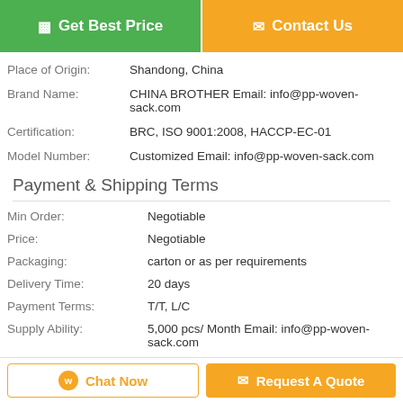[Figure (other): Two buttons at top: green 'Get Best Price' and orange 'Contact Us']
| Place of Origin: | Shandong, China |
| Brand Name: | CHINA BROTHER Email: info@pp-woven-sack.com |
| Certification: | BRC, ISO 9001:2008, HACCP-EC-01 |
| Model Number: | Customized Email: info@pp-woven-sack.com |
Payment & Shipping Terms
| Min Order: | Negotiable |
| Price: | Negotiable |
| Packaging: | carton or as per requirements |
| Delivery Time: | 20 days |
| Payment Terms: | T/T, L/C |
| Supply Ability: | 5,000 pcs/ Month Email: info@pp-woven-sack.com |
Description
[Figure (other): Bottom bar with 'Chat Now' and 'Request A Quote' buttons]